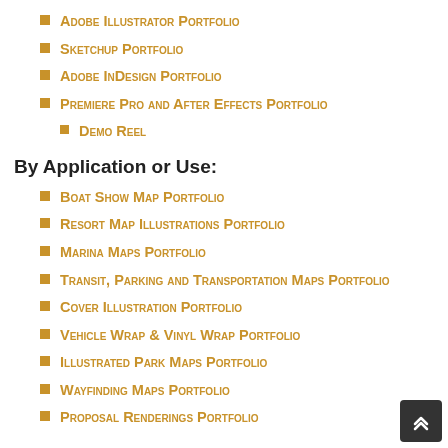Adobe Illustrator Portfolio
Sketchup Portfolio
Adobe InDesign Portfolio
Premiere Pro and After Effects Portfolio
Demo Reel
By Application or Use:
Boat Show Map Portfolio
Resort Map Illustrations Portfolio
Marina Maps Portfolio
Transit, Parking and Transportation Maps Portfolio
Cover Illustration Portfolio
Vehicle Wrap & Vinyl Wrap Portfolio
Illustrated Park Maps Portfolio
Wayfinding Maps Portfolio
Proposal Renderings Portfolio